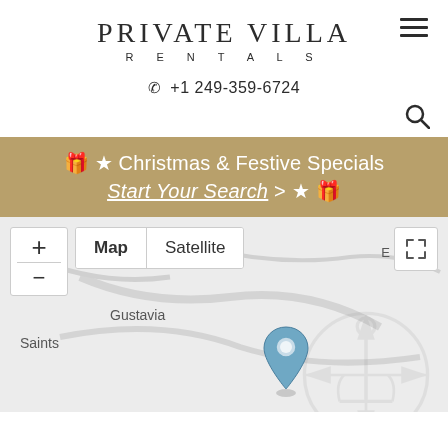PRIVATE VILLA RENTALS
+1 249-359-6724
🎁 ★ Christmas & Festive Specials Start Your Search > ★ 🎁
[Figure (map): Google map showing location near Gustavia and Saints, with a blue map pin marker. Map controls include zoom in/out, Map/Satellite toggle, and fullscreen button.]